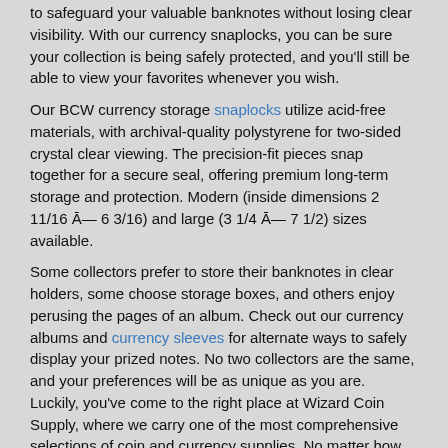to safeguard your valuable banknotes without losing clear visibility. With our currency snaplocks, you can be sure your collection is being safely protected, and you'll still be able to view your favorites whenever you wish.
Our BCW currency storage snaplocks utilize acid-free materials, with archival-quality polystyrene for two-sided crystal clear viewing. The precision-fit pieces snap together for a secure seal, offering premium long-term storage and protection. Modern (inside dimensions 2 11/16 Ā— 6 3/16) and large (3 1/4 Ā— 7 1/2) sizes available.
Some collectors prefer to store their banknotes in clear holders, some choose storage boxes, and others enjoy perusing the pages of an album. Check out our currency albums and currency sleeves for alternate ways to safely display your prized notes. No two collectors are the same, and your preferences will be as unique as you are. Luckily, you've come to the right place at Wizard Coin Supply, where we carry one of the most comprehensive selections of coin and currency supplies. No matter how you choose to store your collection, all of our customers agree that Wizard has the best prices out there for high quality coin collection supplies.